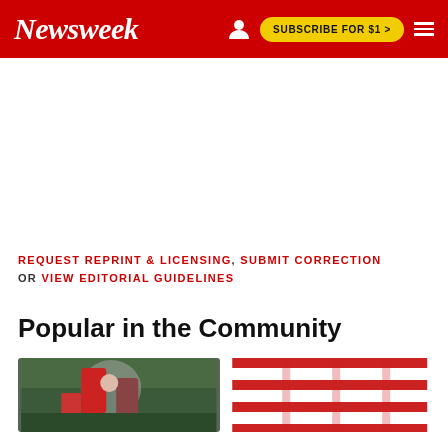Newsweek | SUBSCRIBE FOR $1 >
REQUEST REPRINT & LICENSING, SUBMIT CORRECTION OR VIEW EDITORIAL GUIDELINES
Popular in the Community
[Figure (photo): Two thumbnail images at the bottom of the page showing community article previews]